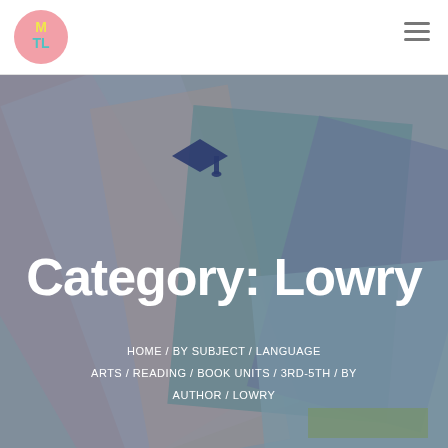MTL logo and navigation header
[Figure (logo): MTL circular logo with pink background, yellow M and teal TL letters]
Category: Lowry
HOME / BY SUBJECT / LANGUAGE ARTS / READING / BOOK UNITS / 3RD-5TH / BY AUTHOR / LOWRY